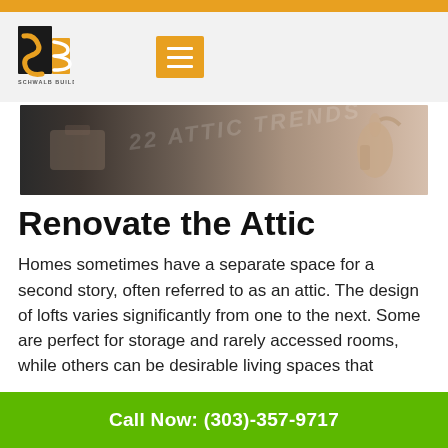[Figure (logo): Schwalb Builders logo with orange and black stylized S/B mark and company name below]
[Figure (photo): Hero banner image showing attic renovation scene with a hand visible, text '22 ATTIC TRENDS' partially visible in background]
Renovate the Attic
Homes sometimes have a separate space for a second story, often referred to as an attic. The design of lofts varies significantly from one to the next. Some are perfect for storage and rarely accessed rooms, while others can be desirable living spaces that provide a more intimate atmosphere.
Call Now: (303)-357-9717